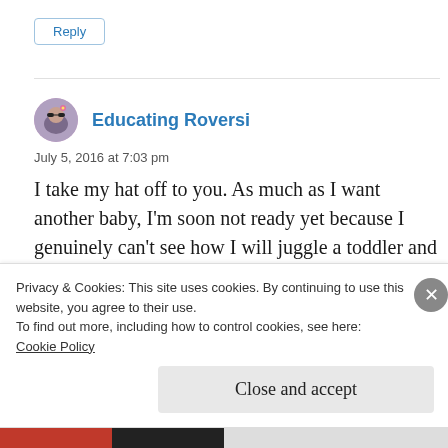Reply
Educating Roversi
July 5, 2016 at 7:03 pm
I take my hat off to you. As much as I want another baby, I'm soon not ready yet because I genuinely can't see how I will juggle a toddler and a baby! #KCACOLS
Privacy & Cookies: This site uses cookies. By continuing to use this website, you agree to their use.
To find out more, including how to control cookies, see here: Cookie Policy
Close and accept